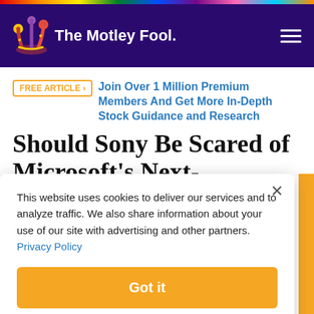[Figure (logo): The Motley Fool logo with jester hat on dark purple navigation bar]
FREE ARTICLE  Join Over 1 Million Premium Members And Get More In-Depth Stock Guidance and Research
Should Sony Be Scared of Microsoft's Next-Generation Gaming Platform?
This website uses cookies to deliver our services and to analyze traffic. We also share information about your use of our site with advertising and other partners. Privacy Policy
Got it
Cookie Settings